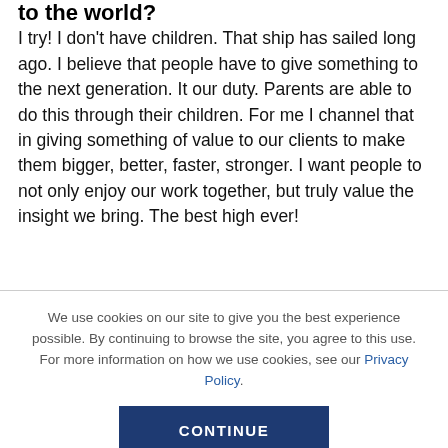to the world?
I try! I don't have children. That ship has sailed long ago. I believe that people have to give something to the next generation. It our duty. Parents are able to do this through their children. For me I channel that in giving something of value to our clients to make them bigger, better, faster, stronger. I want people to not only enjoy our work together, but truly value the insight we bring. The best high ever!
We use cookies on our site to give you the best experience possible. By continuing to browse the site, you agree to this use. For more information on how we use cookies, see our Privacy Policy.
CONTINUE